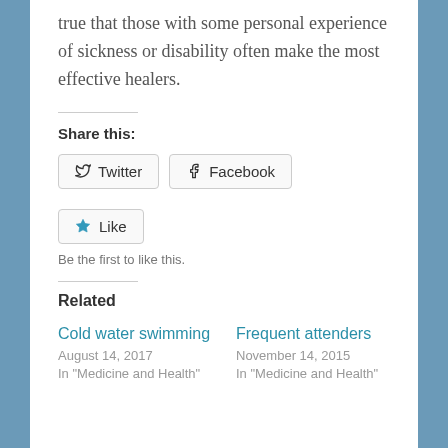true that those with some personal experience of sickness or disability often make the most effective healers.
Share this:
Twitter Facebook
Like
Be the first to like this.
Related
Cold water swimming
August 14, 2017
In "Medicine and Health"
Frequent attenders
November 14, 2015
In "Medicine and Health"